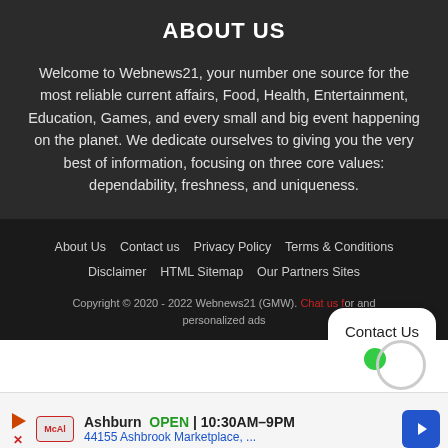ABOUT US
Welcome to Webnews21, your number one source for the most reliable current affairs, Food, Health, Entertainment, Education, Games, and every small and big event happening on the planet. We dedicate ourselves to giving you the very best of information, focusing on three core values: dependability, freshness, and uniqueness.
About Us   Contact us   Privacy Policy   Terms & Conditions   Disclaimer   HTML Sitemap   Our Partners Sites
Copyright © 2020 - 2022 Webnews21 (GMW). Chat us for and personalized ads
[Figure (other): Contact Us button overlay]
[Figure (other): Advertisement banner: Ashburn OPEN 10:30AM-9PM, 44155 Ashbrook Marketplace, ...]